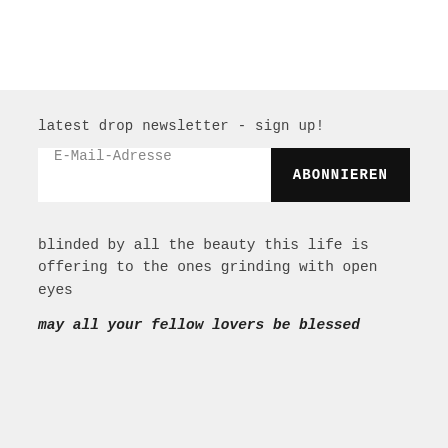latest drop newsletter - sign up!
[Figure (other): Newsletter signup form with email input field labeled 'E-Mail-Adresse' and a black 'ABONNIEREN' subscribe button]
blinded by all the beauty this life is offering to the ones grinding with open eyes
may all your fellow lovers be blessed